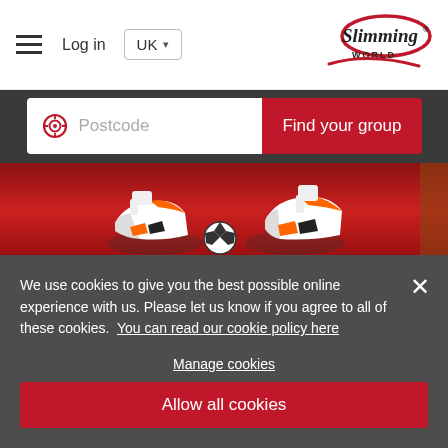Log in | UK | Slimming World
[Figure (screenshot): Postcode search bar with location icon and 'Find your group' red button]
[Figure (photo): Overhead view of feet in white and orange/black athletic shoes standing on a red track surface]
We use cookies to give you the best possible online experience with us. Please let us know if you agree to all of these cookies. You can read our cookie policy here
Manage cookies
Allow all cookies